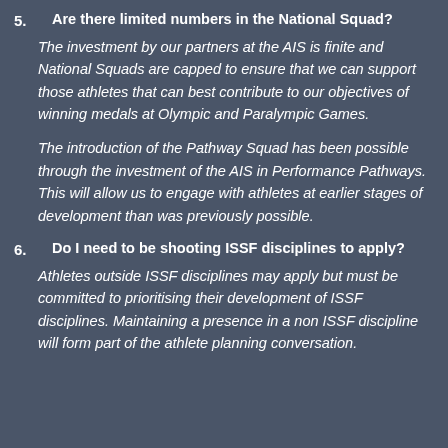5. Are there limited numbers in the National Squad?
The investment by our partners at the AIS is finite and National Squads are capped to ensure that we can support those athletes that can best contribute to our objectives of winning medals at Olympic and Paralympic Games.
The introduction of the Pathway Squad has been possible through the investment of the AIS in Performance Pathways. This will allow us to engage with athletes at earlier stages of development than was previously possible.
6. Do I need to be shooting ISSF disciplines to apply?
Athletes outside ISSF disciplines may apply but must be committed to prioritising their development of ISSF disciplines. Maintaining a presence in a non ISSF discipline will form part of the athlete planning conversation.